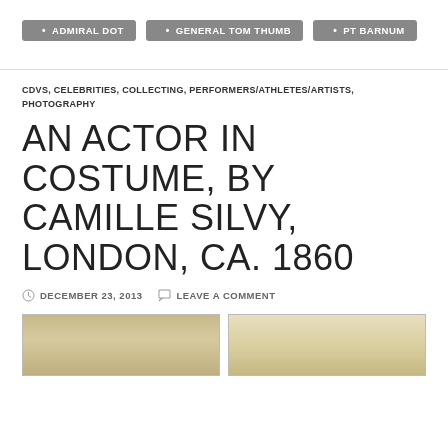ADMIRAL DOT
GENERAL TOM THUMB
PT BARNUM
CDVS, CELEBRITIES, COLLECTING, PERFORMERS/ATHLETES/ARTISTS, PHOTOGRAPHY
AN ACTOR IN COSTUME, BY CAMILLE SILVY, LONDON, CA. 1860
DECEMBER 23, 2013   LEAVE A COMMENT
[Figure (photo): Two vintage photograph thumbnails at the bottom of the page, showing sepia-toned CDV-style portrait images.]